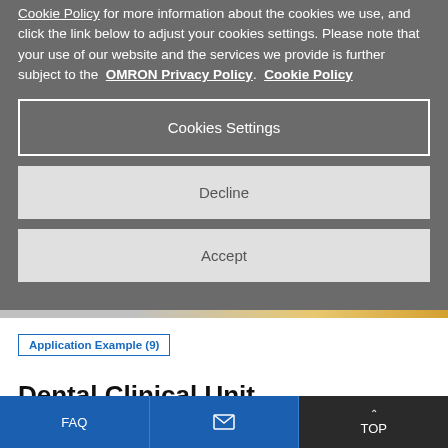Cookie Policy for more information about the cookies we use, and click the link below to adjust your cookies settings. Please note that your use of our website and the services we provide is further subject to the OMRON Privacy Policy. Cookie Policy
Cookies Settings
Decline
Accept
Application Example (9)
Dental Clinical Unit
Touchless switch (sensing of hand)
B5W-LB
FAQ   [envelope icon]   ^ TOP